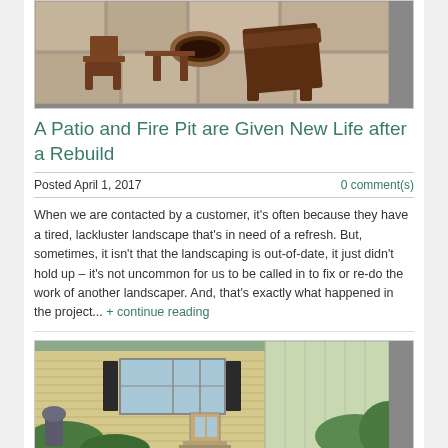[Figure (photo): Patio photo showing wooden Adirondack chairs on stone tile patio near a fire pit]
A Patio and Fire Pit are Given New Life after a Rebuild
Posted April 1, 2017
0 comment(s)
When we are contacted by a customer, it’s often because they have a tired, lackluster landscape that’s in need of a refresh. But, sometimes, it isn’t that the landscaping is out-of-date, it just didn’t hold up – it’s not uncommon for us to be called in to fix or re-do the work of another landscaper. And, that’s exactly what happened in the project... + continue reading
[Figure (photo): House exterior photo showing a residential home with siding, windows, and surrounding greenery]